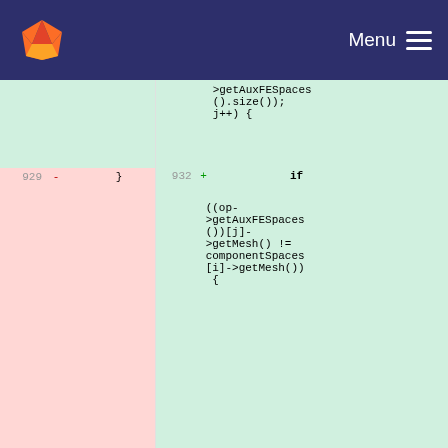GitLab navigation bar with logo and Menu
[Figure (screenshot): Code diff view showing deleted lines 929-930 on the left (pink background) and added lines 932-938 on the right (green background) with C++ code involving getAuxFESpaces, getMesh, setNeedDualTraverse, break statements and closing braces.]